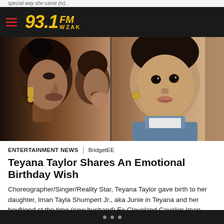93.1 FM WZAK
[Figure (photo): Photo showing Teyana Taylor (profile, kissing her daughter) on the left, and a young child Junie looking at the camera on the right]
ENTERTAINMENT NEWS | BridgetEE
Teyana Taylor Shares An Emotional Birthday Wish
Choreographer/Singer/Reality Star, Teyana Taylor gave birth to her daughter, Iman Tayla Shumpert Jr., aka Junie in Teyana and her boyfriend st the time (now husband) Ex Cleveland Cavalier Iman Shumpert's home bathroom December 16, 2015. With